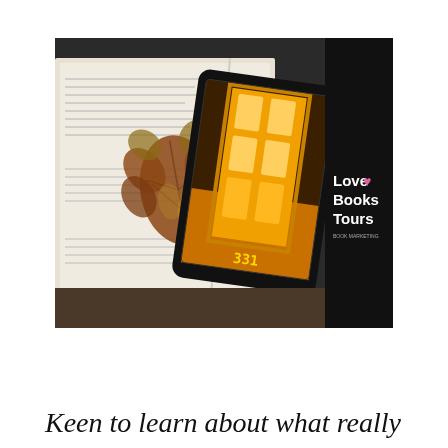[Figure (photo): A tablet device displaying a book cover with a glowing yellow door, resting on an open paperback book with an autumn maple leaf on top. The right side of the image shows a dark background with the 'Love Books Tours' logo in white text with a pink heart.]
Keen to learn about what really